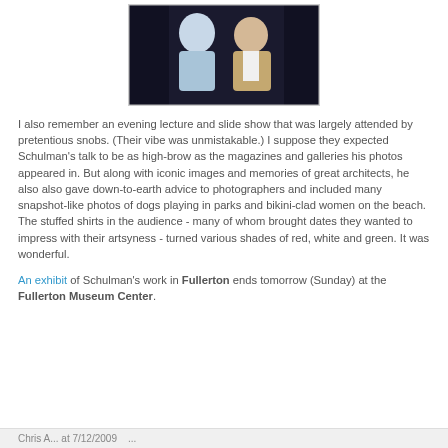[Figure (photo): A photograph showing two men posing together; one in a light blue shirt and one in a tan/beige blazer with a white shirt.]
I also remember an evening lecture and slide show that was largely attended by pretentious snobs. (Their vibe was unmistakable.) I suppose they expected Schulman's talk to be as high-brow as the magazines and galleries his photos appeared in. But along with iconic images and memories of great architects, he also also gave down-to-earth advice to photographers and included many snapshot-like photos of dogs playing in parks and bikini-clad women on the beach. The stuffed shirts in the audience - many of whom brought dates they wanted to impress with their artsyness - turned various shades of red, white and green. It was wonderful.
An exhibit of Schulman's work in Fullerton ends tomorrow (Sunday) at the Fullerton Museum Center.
Chris A... at 7/12/2009 ...